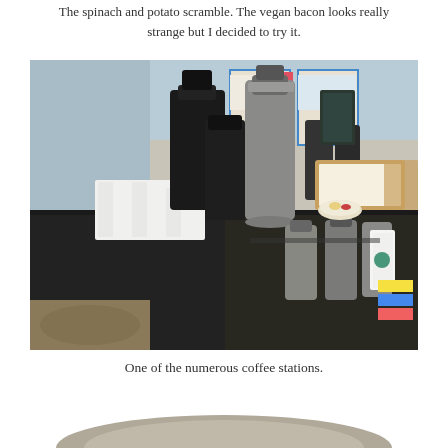The spinach and potato scramble. The vegan bacon looks really strange but I decided to try it.
[Figure (photo): A hotel or conference buffet coffee station with black tablecloth-covered tables holding multiple stainless steel coffee urns/dispensers, stacks of white cups, thermal carafes, cream and sugar packets, and framed menus on the wall in the background.]
One of the numerous coffee stations.
[Figure (photo): Partial view of another photo at the bottom of the page, cut off.]